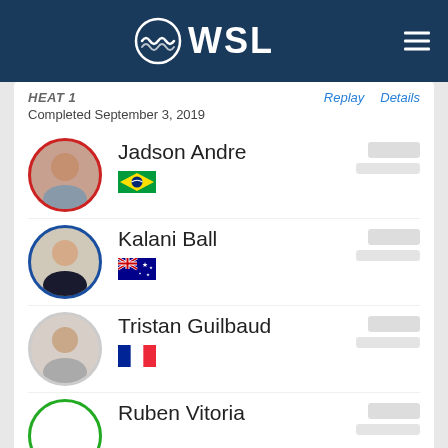[Figure (logo): WSL (World Surf League) logo with wave icon on dark blue header bar]
HEAT 1   Replay   Details
Completed September 3, 2019
Jadson Andre — Brazil — Score redacted
Kalani Ball — Australia — Score redacted
Tristan Guilbaud — France — Score redacted
Ruben Vitoria — Score redacted